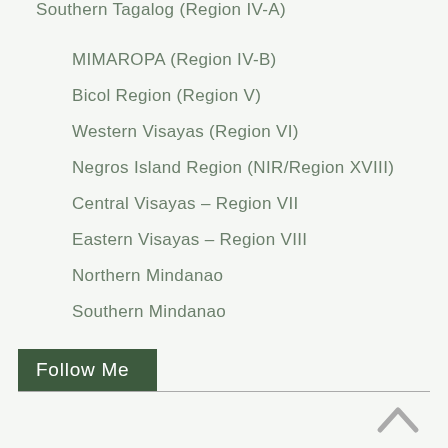Southern Tagalog (Region IV-A)
MIMAROPA (Region IV-B)
Bicol Region (Region V)
Western Visayas (Region VI)
Negros Island Region (NIR/Region XVIII)
Central Visayas – Region VII
Eastern Visayas – Region VIII
Northern Mindanao
Southern Mindanao
Follow Me